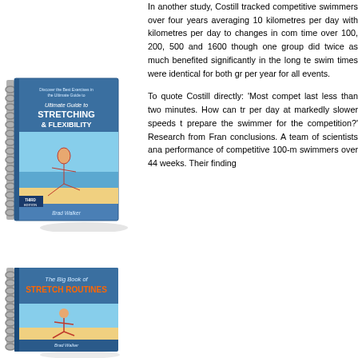[Figure (illustration): Book cover: 'Ultimate Guide to Stretching & Flexibility, Third Edition' by Brad Walker, spiral-bound book with a woman stretching on a beach]
In another study, Costill tracked competitive swimmers over four years averaging 10 kilometres per day with kilometres per day to changes in com time over 100, 200, 500 and 1600 though one group did twice as much benefited significantly in the long te swim times were identical for both gr per year for all events.
To quote Costill directly: 'Most compet last less than two minutes. How can tr per day at markedly slower speeds t prepare the swimmer for the competition?' Research from Fran conclusions. A team of scientists ana performance of competitive 100-m swimmers over 44 weeks. Their finding
[Figure (illustration): Book cover: 'The Big Book of Stretch Routines', spiral-bound book with a woman stretching]